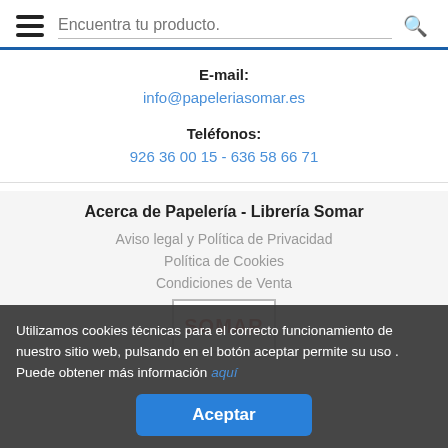Encuentra tu producto.
E-mail:
info@papeleriasomar.es
Teléfonos:
926 36 00 15 - 636 58 66 71
Acerca de Papelería - Librería Somar
Aviso legal y Política de Privacidad
Política de Cookies
Condiciones de Venta
Utilizamos cookies técnicas para el correcto funcionamiento de nuestro sitio web, pulsando en el botón aceptar permite su uso . Puede obtener más información aquí
Aceptar